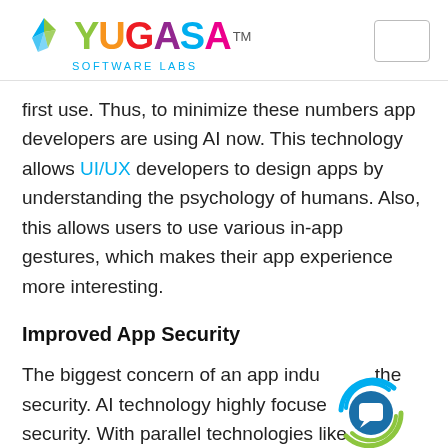YUGASA SOFTWARE LABS
first use. Thus, to minimize these numbers app developers are using AI now. This technology allows UI/UX developers to design apps by understanding the psychology of humans. Also, this allows users to use various in-app gestures, which makes their app experience more interesting.
Improved App Security
The biggest concern of an app industry is the security. AI technology highly focuses on security. With parallel technologies like